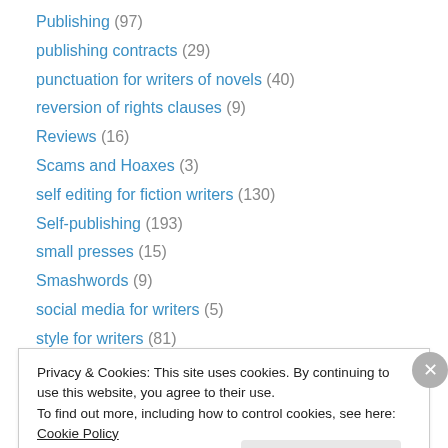Publishing (97)
publishing contracts (29)
punctuation for writers of novels (40)
reversion of rights clauses (9)
Reviews (16)
Scams and Hoaxes (3)
self editing for fiction writers (130)
Self-publishing (193)
small presses (15)
Smashwords (9)
social media for writers (5)
style for writers (81)
Teaching writing (17)
Privacy & Cookies: This site uses cookies. By continuing to use this website, you agree to their use.
To find out more, including how to control cookies, see here: Cookie Policy